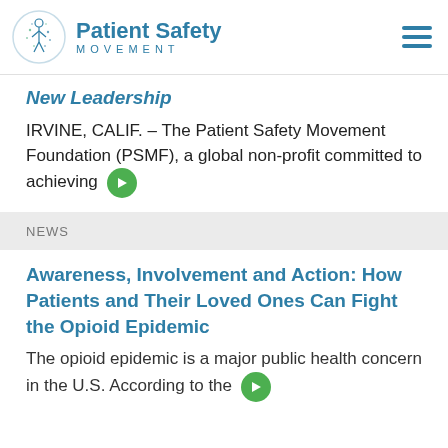[Figure (logo): Patient Safety Movement Foundation logo with stylized human figure in a circle and text 'Patient Safety MOVEMENT']
New Leadership
IRVINE, CALIF. – The Patient Safety Movement Foundation (PSMF), a global non-profit committed to achieving →
NEWS
Awareness, Involvement and Action: How Patients and Their Loved Ones Can Fight the Opioid Epidemic
The opioid epidemic is a major public health concern in the U.S. According to the →